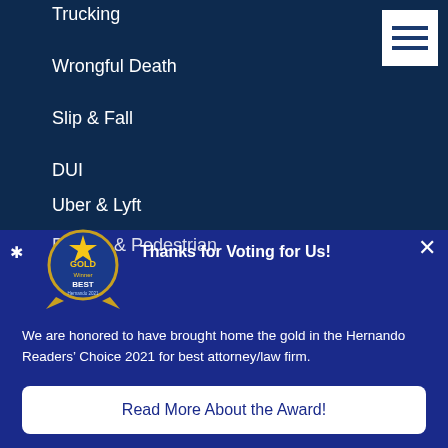Trucking
Wrongful Death
Slip & Fall
DUI
Uber & Lyft
Bicycle & Pedestrian
[Figure (logo): Gold Winner Best of Hernando Readers Choice 2021 badge/award logo]
Thanks for Voting for Us!
We are honored to have brought home the gold in the Hernando Readers’ Choice 2021 for best attorney/law firm.
Read More About the Award!